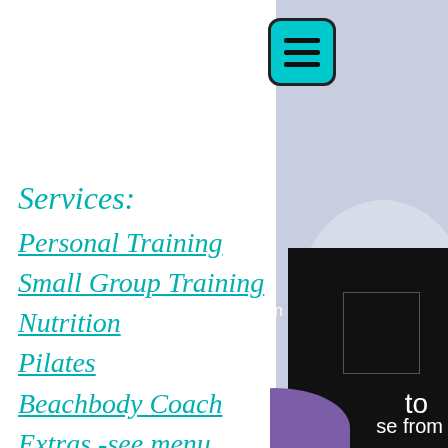[Figure (screenshot): Cyan/teal rounded square hamburger menu button with three horizontal bars]
Services:
Personal Training
Small Group Training
Nutrition
Pilates
Beachbody Coach
Extras -see menu